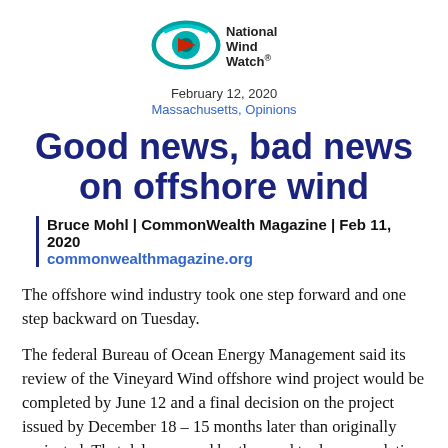[Figure (logo): National Wind Watch logo — stylized eye with teal and red, with text 'National Wind Watch']
February 12, 2020
Massachusetts, Opinions
Good news, bad news on offshore wind
Bruce Mohl | CommonWealth Magazine | Feb 11, 2020
commonwealthmagazine.org
The offshore wind industry took one step forward and one step backward on Tuesday.
The federal Bureau of Ocean Energy Management said its review of the Vineyard Wind offshore wind project would be completed by June 12 and a final decision on the project issued by December 18 – 15 months later than originally projected. That delay, caused by the need to do a cumulative impact analysis of wind farms going up all along the East Coast, is a setback for the industry and a blow to the state's efforts to reduce greenhouse gas emissions.